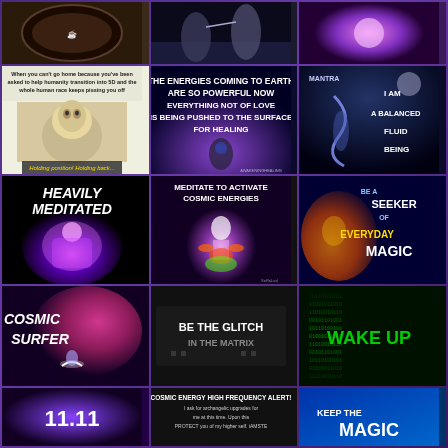[Figure (photo): Coffee cup/bowl from above on dark background]
[Figure (photo): Silhouettes of two figures reaching toward each other]
[Figure (photo): Glowing purple/pink cosmic energy image]
[Figure (illustration): Text meme: When you can't go home because you've been asked to help humanity transition into 5D and the whole human race keeps pissing you off. Image of alien-like figure with children.]
[Figure (illustration): Text image: THE ENERGIES COMING TO EARTH ARE SO POWERFUL NOW EVERYTHING NOT OF LOVE IS BEING PUSHED TO THE SURFACE FOR HEALING. Dark purple/blue background with silhouette.]
[Figure (illustration): MANTRA: I AM A BALANCED FLUID BEING. Dark cosmic background with serpent figure.]
[Figure (illustration): HEAVILY MEDITATED. Purple and pink glowing angelic figure on black background.]
[Figure (illustration): MEDITATE TO ACTIVATE COSMIC ENERGIES. Glowing chakra meditation figure.]
[Figure (illustration): BE A SEEKER OF EVERYDAY MAGIC. Colorful cosmic fantasy image.]
[Figure (illustration): COSMIC SURFER. Pink and purple space nebula with surfer silhouette.]
[Figure (illustration): BE THE GLITCH IN THE MATRIX. Text on dark background.]
[Figure (illustration): WAKE UP. Green matrix-style code background.]
[Figure (illustration): 11.11. Cosmic purple galaxy background.]
[Figure (illustration): COSMIC ENERGY HIGH FREQUENCY ALERT! I ask for archangelic upgrades for me at this time. Protect you of my higher self. White text on dark background.]
[Figure (illustration): KEEP THE MAGIC. Blue cosmic background with text.]